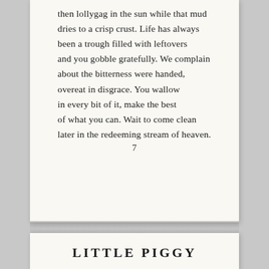then lollygag in the sun while that mud dries to a crisp crust. Life has always been a trough filled with leftovers and you gobble gratefully. We complain about the bitterness were handed, overeat in disgrace. You wallow in every bit of it, make the best of what you can. Wait to come clean later in the redeeming stream of heaven.
7
LITTLE PIGGY